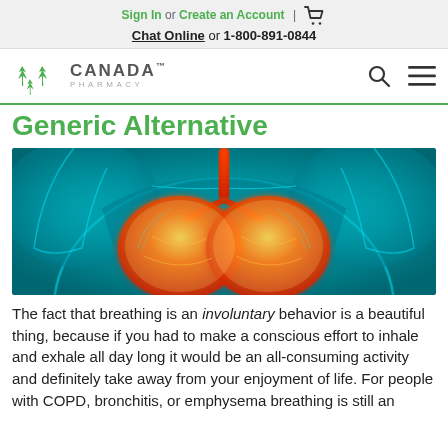Sign In or Create an Account | [cart] Chat Online or 1-800-891-0844
[Figure (logo): Canada Pharmacy logo with maple leaf icons, search icon, and menu icon]
Generic Alternative
[Figure (illustration): Medical illustration of human torso showing glowing lungs in orange/yellow against teal/cyan X-ray style background]
The fact that breathing is an involuntary behavior is a beautiful thing, because if you had to make a conscious effort to inhale and exhale all day long it would be an all-consuming activity and definitely take away from your enjoyment of life. For people with COPD, bronchitis, or emphysema breathing is still an